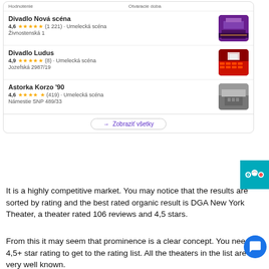[Figure (screenshot): Google Maps listing screenshot showing three theaters: Divadlo Nová scéna (4.6 stars, 1221 reviews, Umelecká scéna, Živnostenská 1), Divadlo Ludus (4.9 stars, 8 reviews, Umelecká scéna, Jozefská 2987/19), Astorka Korzo '90 (4.6 stars, 419 reviews, Umelecká scéna, Námestie SNP 489/33), with 'Zobraziť všetky' button and TripAdvisor badge]
It is a highly competitive market. You may notice that the results are sorted by rating and the best rated organic result is DGA New York Theater, a theater rated 106 reviews and 4,5 stars.
From this it may seem that prominence is a clear concept. You need a 4,5+ star rating to get to the rating list. All the theaters in the list are very well known.